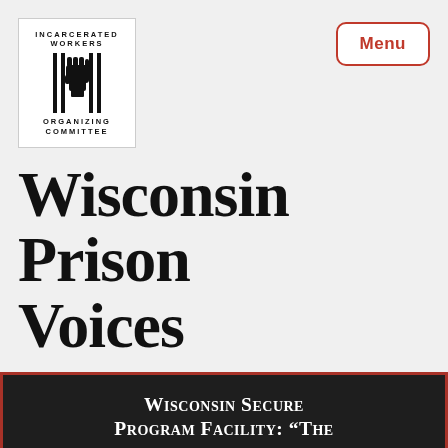[Figure (logo): Incarcerated Workers Organizing Committee logo: white box with text 'INCARCERATED WORKERS' at top, raised fist graphic with vertical bars (prison bars) in center, 'ORGANIZING COMMITTEE' at bottom]
Wisconsin Prison Voices
Wisconsin Secure Program Facility: “The warden is nonchalant about anything going on here”